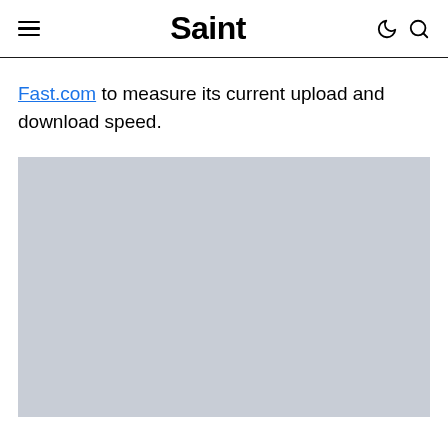Saint
Fast.com to measure its current upload and download speed.
[Figure (photo): Large light gray placeholder image block]